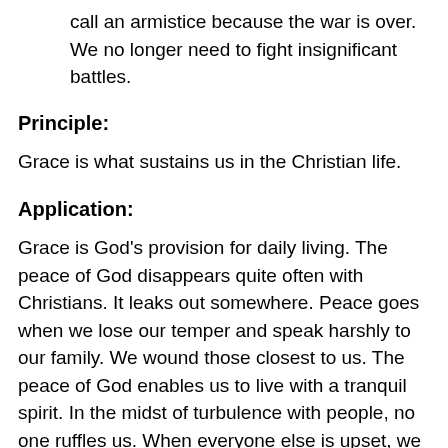call an armistice because the war is over. We no longer need to fight insignificant battles.
Principle:
Grace is what sustains us in the Christian life.
Application:
Grace is God's provision for daily living. The peace of God disappears quite often with Christians. It leaks out somewhere. Peace goes when we lose our temper and speak harshly to our family. We wound those closest to us. The peace of God enables us to live with a tranquil spirit. In the midst of turbulence with people, no one ruffles us. When everyone else is upset, we are calm. We can sit down on the inside. Not many of us have that kind